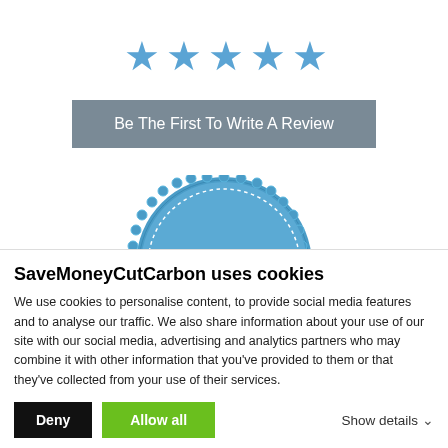[Figure (other): Five blue outline stars in a row, representing a 5-star rating prompt]
Be The First To Write A Review
[Figure (other): Blue circular badge/seal with white dotted border showing '4,391' in large white text and five gold stars below it]
SaveMoneyCutCarbon uses cookies
We use cookies to personalise content, to provide social media features and to analyse our traffic. We also share information about your use of our site with our social media, advertising and analytics partners who may combine it with other information that you've provided to them or that they've collected from your use of their services.
Deny
Allow all
Show details